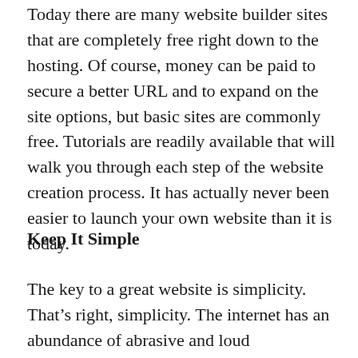Today there are many website builder sites that are completely free right down to the hosting. Of course, money can be paid to secure a better URL and to expand on the site options, but basic sites are commonly free. Tutorials are readily available that will walk you through each step of the website creation process. It has actually never been easier to launch your own website than it is today.
Keep It Simple
The key to a great website is simplicity. That’s right, simplicity. The internet has an abundance of abrasive and loud promotional websites and banner advertisements, so a simple yet elegant website can be memorable and refreshing to a viewer. Bright